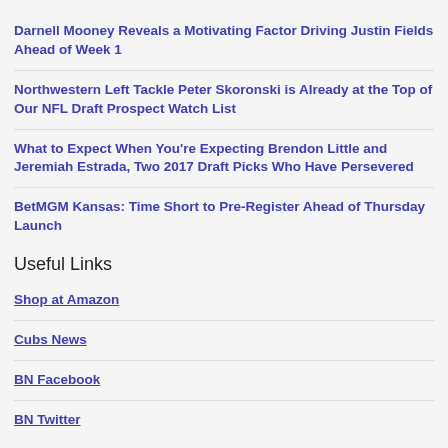Darnell Mooney Reveals a Motivating Factor Driving Justin Fields Ahead of Week 1
Northwestern Left Tackle Peter Skoronski is Already at the Top of Our NFL Draft Prospect Watch List
What to Expect When You're Expecting Brendon Little and Jeremiah Estrada, Two 2017 Draft Picks Who Have Persevered
BetMGM Kansas: Time Short to Pre-Register Ahead of Thursday Launch
Useful Links
Shop at Amazon
Cubs News
BN Facebook
BN Twitter